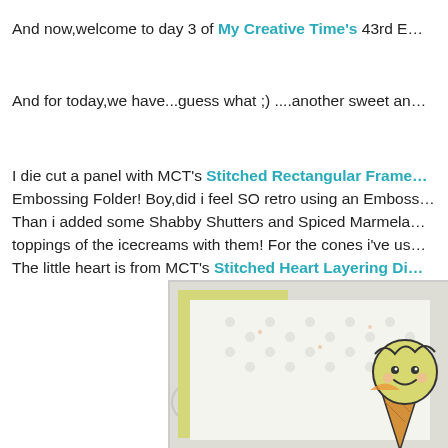And now,welcome to day 3 of My Creative Time's 43rd E...
And for today,we have...guess what ;) ....another sweet an...
I die cut a panel with MCT's Stitched Rectangular Frame... Embossing Folder! Boy,did i feel SO retro using an Emboss... Than i added some Shabby Shutters and Spiced Marmela... toppings of the icecreams with them! For the cones i've us... The little heart is from MCT's Stitched Heart Layering Di...
[Figure (photo): Close-up photo of a handmade card with a yellow frame panel on a white embossed background, featuring a cute ice cream character illustration partially visible at the bottom right]